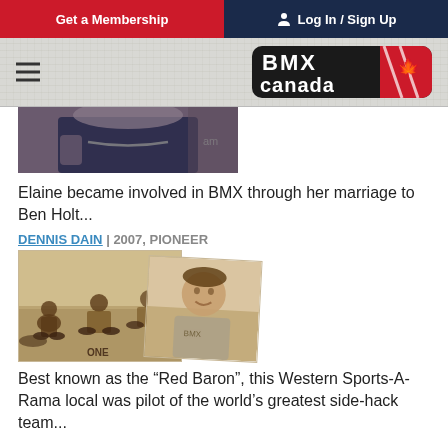Get a Membership | Log In / Sign Up
[Figure (logo): BMX Canada logo with red maple leaf and dark banner]
[Figure (photo): Partial photo showing a person in dark clothing with chain necklace]
Elaine became involved in BMX through her marriage to Ben Holt...
DENNIS DAIN | 2007, PIONEER
[Figure (photo): Sepia-toned vintage photos of BMX riders and a portrait]
Best known as the “Red Baron”, this Western Sports-A-Rama local was pilot of the world’s greatest side-hack team...